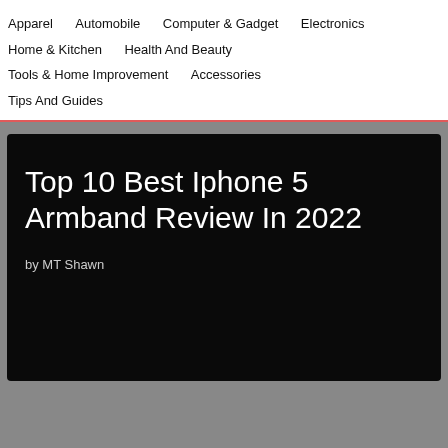Apparel   Automobile   Computer & Gadget   Electronics   Home & Kitchen   Health And Beauty   Tools & Home Improvement   Accessories   Tips And Guides
Top 10 Best Iphone 5 Armband Review In 2022
by MT Shawn